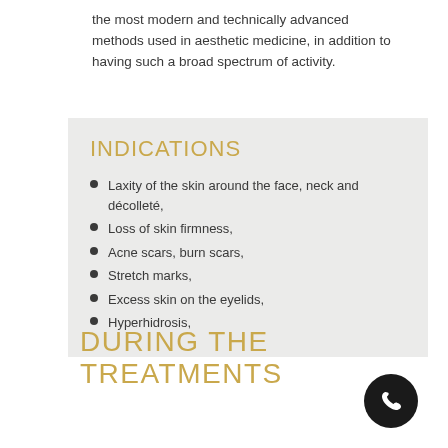the most modern and technically advanced methods used in aesthetic medicine, in addition to having such a broad spectrum of activity.
INDICATIONS
Laxity of the skin around the face, neck and décolleté,
Loss of skin firmness,
Acne scars, burn scars,
Stretch marks,
Excess skin on the eyelids,
Hyperhidrosis,
DURING THE TREATMENTS
[Figure (other): Black circular phone/call button icon in bottom right corner]